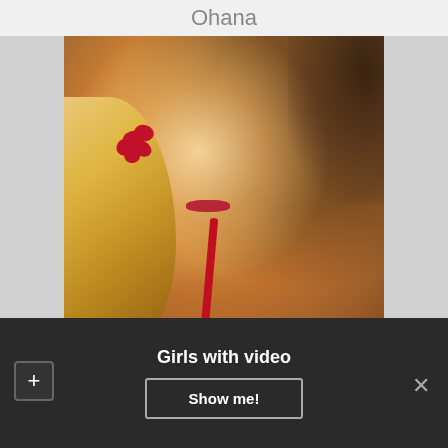Ohana
[Figure (photo): A blonde woman with a red flower in her hair wearing a red top, with another person behind her]
Girls with video
Show me!